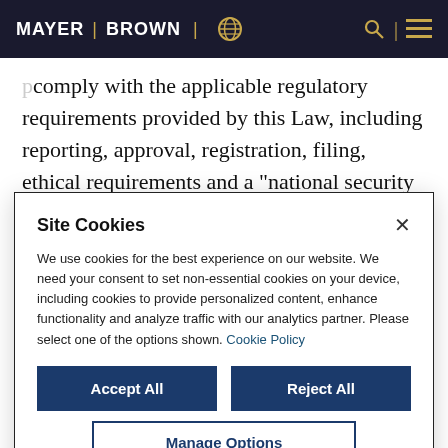MAYER | BROWN
comply with the applicable regulatory requirements provided by this Law, including reporting, approval, registration, filing, ethical requirements and a “national security review”. While many of these requirements would apply to
Site Cookies
We use cookies for the best experience on our website. We need your consent to set non-essential cookies on your device, including cookies to provide personalized content, enhance functionality and analyze traffic with our analytics partner. Please select one of the options shown. Cookie Policy
Accept All
Reject All
Manage Options